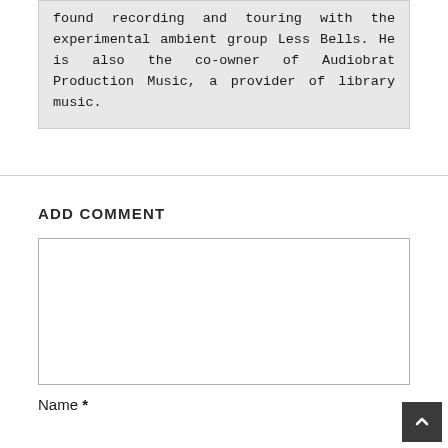found recording and touring with the experimental ambient group Less Bells. He is also the co-owner of Audiobrat Production Music, a provider of library music.
ADD COMMENT
[comment textarea box]
Name *